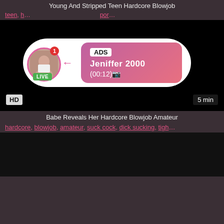Young And Stripped Teen Hardcore Blowjob
teen, h... por...
[Figure (screenshot): Black video player with HD badge and 5 min duration, overlaid with an advertisement popup showing a profile avatar with LIVE badge, ADS label, name Jeniffer 2000, and time (00:12)]
Babe Reveals Her Hardcore Blowjob Amateur
hardcore, blowjob, amateur, suck cock, dick sucking, tigh...
[Figure (screenshot): Black video player thumbnail]